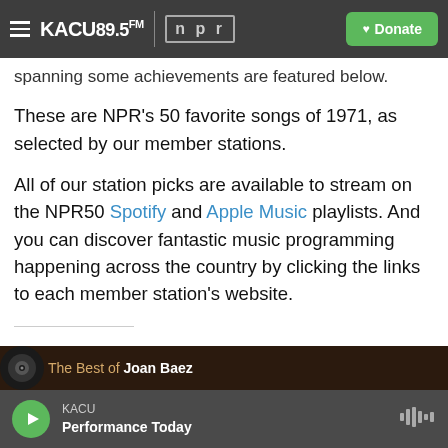KACU 89.5FM | npr — Donate
spanning some achievements are featured below.
These are NPR's 50 favorite songs of 1971, as selected by our member stations.
All of our station picks are available to stream on the NPR50 Spotify and Apple Music playlists. And you can discover fantastic music programming happening across the country by clicking the links to each member station's website.
[Figure (photo): Bottom strip showing vinyl record icon and text 'The Best of Joan Baez' on dark brown background]
KACU — Performance Today (player bar)